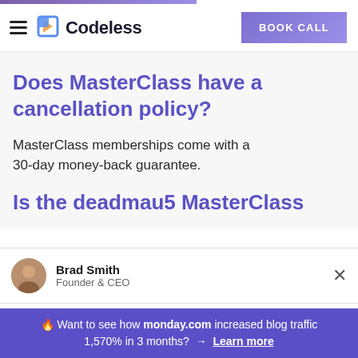Codeless | BOOK CALL
Does MasterClass have a cancellation policy?
MasterClass memberships come with a 30-day money-back guarantee.
Is the deadmau5 MasterClass
Brad Smith
Founder & CEO
🔥 Want to see how monday.com increased blog traffic 1,570% in 3 months?  →  Learn more